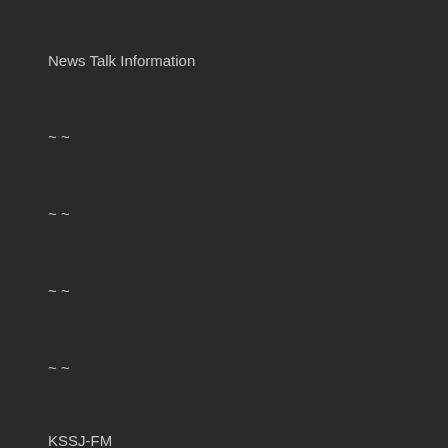News Talk Information
~ ~
~ ~
~ ~
~ ~
KSSJ-FM
New AC (NAC)/Smooth Jazz
~ ~
~ ~
~ ~
~ ~
KSRO-AM
News Talk Information